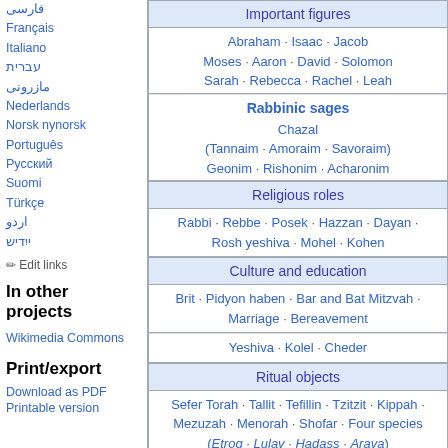فارسی
Français
Italiano
עברית
مازرونی
Nederlands
Norsk nynorsk
Português
Русский
Suomi
Türkçe
اردو
ייִדיש
✏ Edit links
In other projects
Wikimedia Commons
Print/export
Download as PDF
Printable version
| Important figures |
| --- |
| Abraham · Isaac · Jacob
Moses · Aaron · David · Solomon
Sarah · Rebecca · Rachel · Leah |
| Rabbinic sages
Chazal
(Tannaim · Amoraim · Savoraim)
Geonim · Rishonim · Acharonim |
| Religious roles |
| Rabbi · Rebbe · Posek · Hazzan · Dayan · Rosh yeshiva · Mohel · Kohen |
| Culture and education |
| Brit · Pidyon haben · Bar and Bat Mitzvah · Marriage · Bereavement |
| Yeshiva · Kolel · Cheder |
| Ritual objects |
| Sefer Torah · Tallit · Tefillin · Tzitzit · Kippah · Mezuzah · Menorah · Shofar · Four species (Etrog · Lulav · Hadass · Arava) |